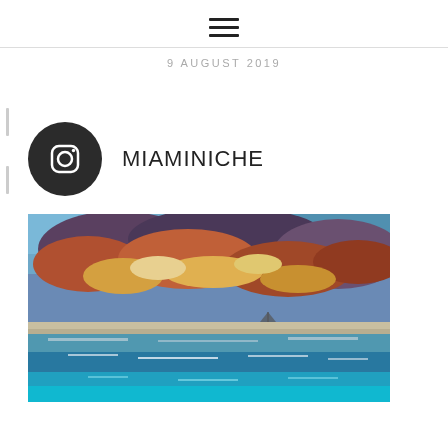☰ (hamburger menu icon)
9 AUGUST 2019
[Figure (logo): Instagram logo icon in dark circle followed by username MIAMINICHE]
[Figure (photo): Impressionist/painterly seascape painting showing dramatic cloudy sky with warm red, brown, gold clouds above a calm reflective sea with teal and turquoise water.]